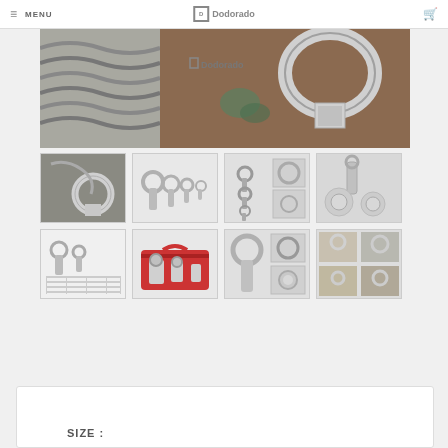MENU | Dodorado
[Figure (photo): Large main product image showing metal hardware/cable and a large ring bolt on rusty metal surface, with Dodorado logo overlay]
[Figure (photo): Thumbnail 1: Close-up of eye bolt with cable]
[Figure (photo): Thumbnail 2: Four eye bolts of different sizes laid out]
[Figure (photo): Thumbnail 3: Set of eye bolts folded/arranged with multiple angles]
[Figure (photo): Thumbnail 4: Eye bolt disassembled showing components on grey background]
[Figure (photo): Thumbnail 5: Two eye bolts with measurement chart]
[Figure (photo): Thumbnail 6: Red carrying case with eye bolt tools]
[Figure (photo): Thumbnail 7: Large eye bolt shown with multiple detail views]
[Figure (photo): Thumbnail 8: Collage of eye bolt in use on various surfaces]
SIZE :